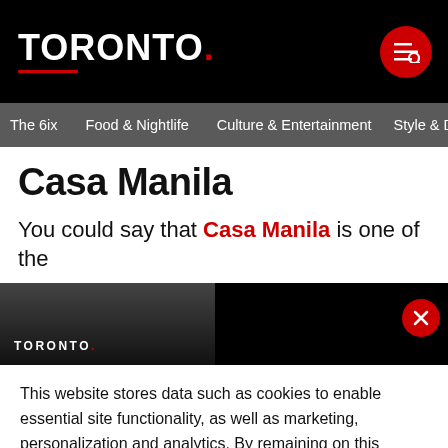TORONTO.
The 6ix   Food & Nightlife   Culture & Entertainment   Style & De
Casa Manila
You could say that Casa Manila is one of the
[Figure (screenshot): Toronto logo on dark background image strip with close button]
This website stores data such as cookies to enable essential site functionality, as well as marketing, personalization and analytics. By remaining on this website you indicate your consent. Read our Privacy Policy.
ACCEPT
Adobo Fried Rice, Pork Sisig, Mabuhay Mixed